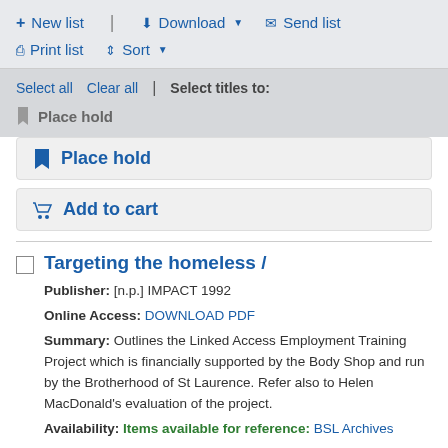+ New list | Download ▼ ✉ Send list | Print list ⇕ Sort ▼
Select all   Clear all  |  Select titles to:
Place hold
Place hold
Add to cart
Targeting the homeless /
Publisher: [n.p.] IMPACT 1992
Online Access: DOWNLOAD PDF
Summary: Outlines the Linked Access Employment Training Project which is financially supported by the Body Shop and run by the Brotherhood of St Laurence. Refer also to Helen MacDonald's evaluation of the project.
Availability: Items available for reference: BSL Archives